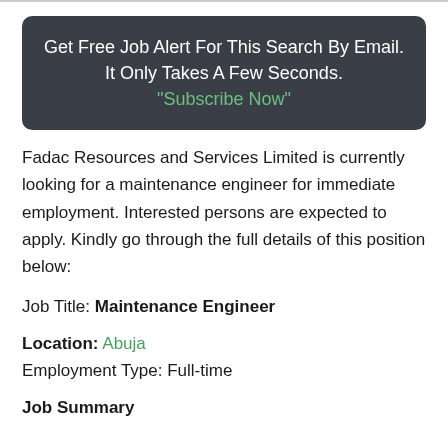Get Free Job Alert For This Search By Email. It Only Takes A Few Seconds. "Subscribe Now"
Fadac Resources and Services Limited is currently looking for a maintenance engineer for immediate employment. Interested persons are expected to apply. Kindly go through the full details of this position below:
Job Title: Maintenance Engineer
Location: Abuja
Employment Type: Full-time
Job Summary